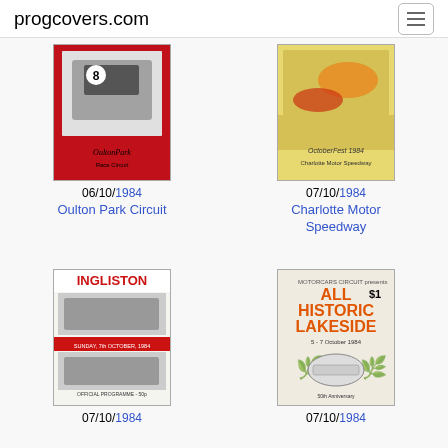progcovers.com
[Figure (photo): Racing programme cover for Oulton Park Circuit, with racing car image and Oulton Park text]
06/10/1984
Oulton Park Circuit
[Figure (photo): Racing programme cover for Charlotte Motor Speedway, OctoberFest 1984 with colourful racing cars]
07/10/1984
Charlotte Motor Speedway
[Figure (photo): Racing programme cover for Ingliston Race Circuit, Sunday 7th October 1984]
07/10/1984
[Figure (photo): Racing programme cover for All Historic Lakeside, $1, with vintage racing car illustration]
07/10/1984